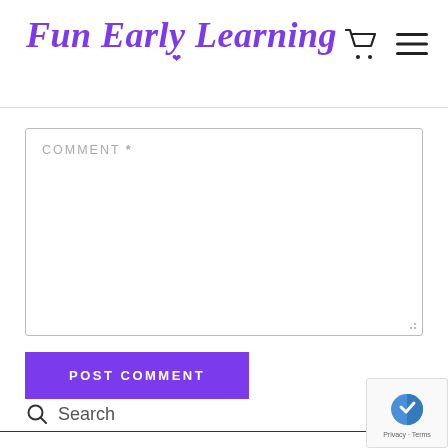Fun Early Learning
COMMENT *
POST COMMENT
Search